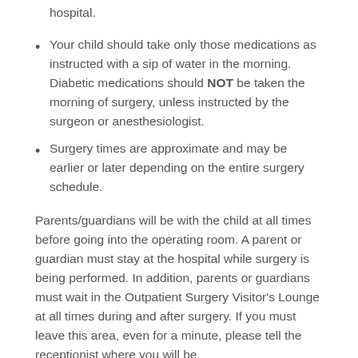hospital.
Your child should take only those medications as instructed with a sip of water in the morning. Diabetic medications should NOT be taken the morning of surgery, unless instructed by the surgeon or anesthesiologist.
Surgery times are approximate and may be earlier or later depending on the entire surgery schedule.
Parents/guardians will be with the child at all times before going into the operating room. A parent or guardian must stay at the hospital while surgery is being performed. In addition, parents or guardians must wait in the Outpatient Surgery Visitor’s Lounge at all times during and after surgery. If you must leave this area, even for a minute, please tell the receptionist where you will be.
Pain Relief
Your child has the same right to pain relief as grownups.